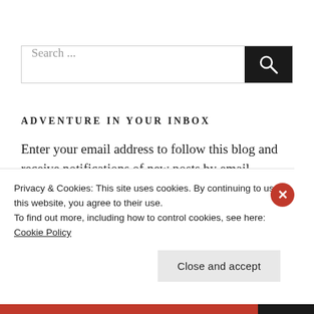Search ...
ADVENTURE IN YOUR INBOX
Enter your email address to follow this blog and receive notifications of new posts by email.
Enter your email address
Privacy & Cookies: This site uses cookies. By continuing to use this website, you agree to their use.
To find out more, including how to control cookies, see here: Cookie Policy
Close and accept